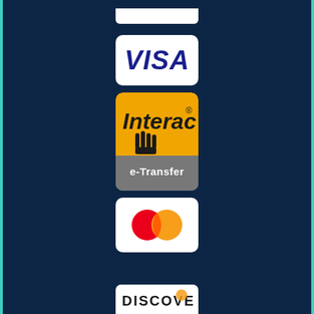[Figure (logo): Partial white card visible at top, cut off]
[Figure (logo): VISA logo — blue italic bold text on white background]
[Figure (logo): Interac e-Transfer logo — orange square with hand icon and grey e-Transfer banner]
[Figure (logo): Mastercard logo — red and orange overlapping circles on white background]
[Figure (logo): Discover logo — partial view at bottom, white card with DISCOVER text]